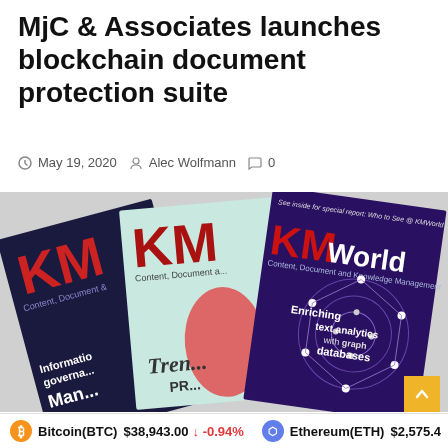MjC & Associates launches blockchain document protection suite
May 19, 2020  Alec Wolfmann  0
[Figure (photo): Three KMWorld magazine covers fanned out, showing covers with topics including 'Enriching text analytics with graph databases', 'Information governance', and 'Trends'.]
Bitcoin(BTC) $38,943.00 ↓ -0.94%   Ethereum(ETH) $2,575.4